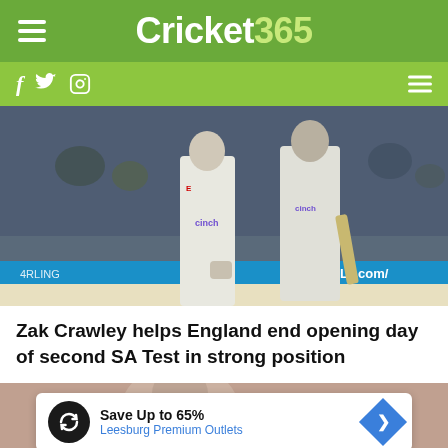Cricket365
[Figure (photo): Two England cricket batsmen in white kit with cinch sponsorship walking on the field, crowd visible in background]
Zak Crawley helps England end opening day of second SA Test in strong position
[Figure (photo): Partial photo of cricket player with advertisement overlay: Save Up to 65% Leesburg Premium Outlets]